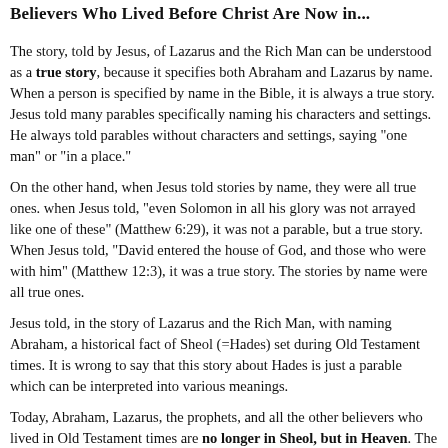Believers Who Lived Before Christ Are Now in...
The story, told by Jesus, of Lazarus and the Rich Man can be understood as a true story, because it specifies both Abraham and Lazarus by name. When a person is specified by name in the Bible, it is always a true story. Jesus told many parables specifically naming his characters and settings. He always told parables without characters and settings, saying "one man" or "in a place."
On the other hand, when Jesus told stories by name, they were all true ones. when Jesus told, "even Solomon in all his glory was not arrayed like one of these" (Matthew 6:29), it was not a parable, but a true story. When Jesus told, "David entered the house of God, and those who were with him" (Matthew 12:3), it was a true story. The stories by name were all true ones.
Jesus told, in the story of Lazarus and the Rich Man, with naming Abraham, a historical fact of Sheol (=Hades) set during Old Testament times. It is wrong to say that this story about Hades is just a parable which can be interpreted into various meanings.
Today, Abraham, Lazarus, the prophets, and all the other believers who lived in Old Testament times are no longer in Sheol, but in Heaven. The New Testament observes:
"When he (Jesus) ascended on high, he led captives in his train and gave gifts to men" (Ephesians 4:8-9)
When Jesus ascended into Heaven, "he led captives (in his train)." W... ...? No. Jesus did not lead the righteous into Heaven. The "captives" re...